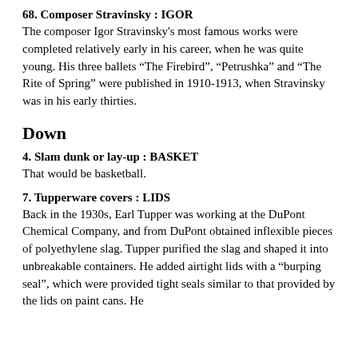68. Composer Stravinsky : IGOR
The composer Igor Stravinsky's most famous works were completed relatively early in his career, when he was quite young. His three ballets “The Firebird”, “Petrushka” and “The Rite of Spring” were published in 1910-1913, when Stravinsky was in his early thirties.
Down
4. Slam dunk or lay-up : BASKET
That would be basketball.
7. Tupperware covers : LIDS
Back in the 1930s, Earl Tupper was working at the DuPont Chemical Company, and from DuPont obtained inflexible pieces of polyethylene slag. Tupper purified the slag and shaped it into unbreakable containers. He added airtight lids with a “burping seal”, which were provided tight seals similar to that provided by the lids on paint cans. He